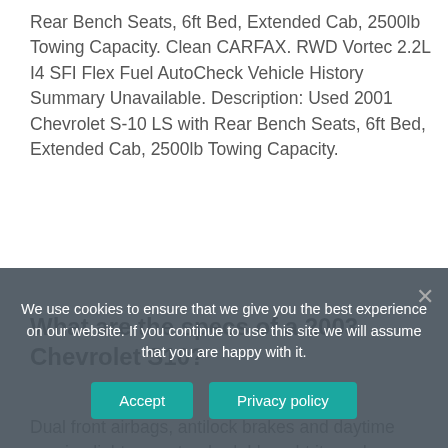Rear Bench Seats, 6ft Bed, Extended Cab, 2500lb Towing Capacity. Clean CARFAX. RWD Vortec 2.2L I4 SFI Flex Fuel AutoCheck Vehicle History Summary Unavailable. Description: Used 2001 Chevrolet S-10 LS with Rear Bench Seats, 6ft Bed, Extended Cab, 2500lb Towing Capacity.
What are the specs of a 2003 Chevrolet S10?
Dual front airbags, antilock brakes and daytime running lights are standard. I bought it used
We use cookies to ensure that we give you the best experience on our website. If you continue to use this site we will assume that you are happy with it.